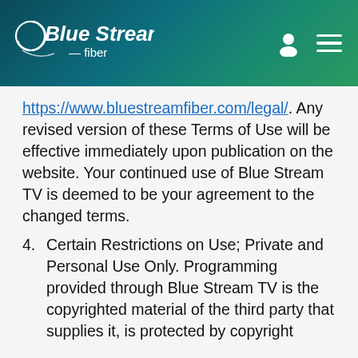[Figure (logo): Blue Stream Fiber logo in white on teal/dark gradient header background, with a person icon and hamburger menu icon on the right]
https://www.bluestreamfiber.com/legal/. Any revised version of these Terms of Use will be effective immediately upon publication on the website. Your continued use of Blue Stream TV is deemed to be your agreement to the changed terms.
4. Certain Restrictions on Use; Private and Personal Use Only. Programming provided through Blue Stream TV is the copyrighted material of the third party that supplies it, is protected by copyright and other applicable laws, and